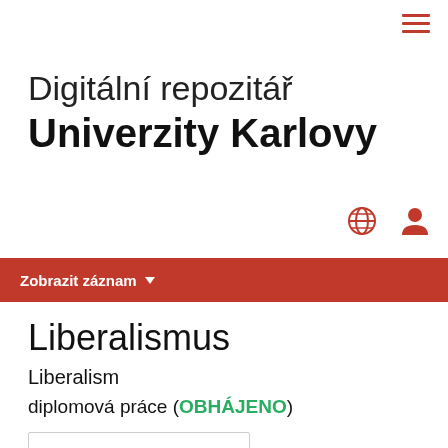≡
Digitální repozitář Univerzity Karlovy
[Figure (other): Globe icon and user/person icon in red]
Zobrazit záznam ▾
Liberalismus
Liberalism
diplomová práce (OBHÁJENO)